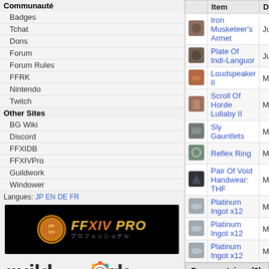Communauté
Badges
Tchat
Dons
Forum
Forum Rules
FFRK
Nintendo
Twitch
Other Sites
BG Wiki
Discord
FFXIDB
FFXIVPro
Guildwork
Windower
Langues: JP EN DE FR
[Figure (logo): FFXIV Pro logo banner on black background]
[Figure (logo): Guildwork logo with colorful gear icon]
329 users online
| Item | Da... |
| --- | --- |
| Iron Musketeer's Armet | Jun |
| Plate Of Indi-Languor | Jun |
| Loudspeaker II | May |
| Scroll Of Horde Lullaby II | May |
| Sly Gauntlets | May |
| Reflex Ring | Mar |
| Pair Of Void Handwear: THF | Mar |
| Platinum Ingot x12 | Mar |
| Platinum Ingot x12 | Mar |
| Platinum Ingot x12 | Mar |
Commentaires (0)
Screenshots (0)
All FFXI content and images © 2002-2022 S...
A propos